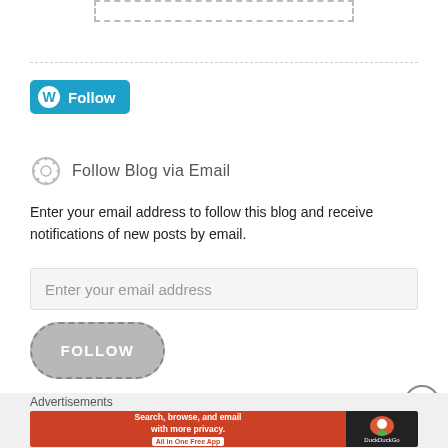[Figure (other): Dashed rectangle placeholder box at top of page]
[Figure (other): WordPress Follow button with WP logo in cyan/teal background]
Follow Blog via Email
Enter your email address to follow this blog and receive notifications of new posts by email.
[Figure (other): Email address input field with placeholder text 'Enter your email address']
[Figure (other): FOLLOW button with rounded pill shape and dashed border in gray]
[Figure (other): Close/X circle button]
Advertisements
[Figure (other): DuckDuckGo advertisement banner: 'Search, browse, and email with more privacy. All in One Free App']